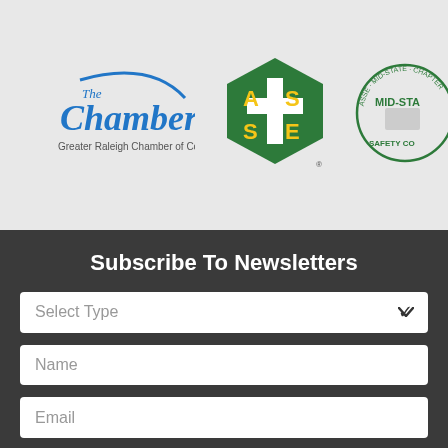[Figure (logo): The Chamber - Greater Raleigh Chamber of Commerce logo with blue text and arc]
[Figure (logo): ASSE (American Society of Safety Engineers) green pentagon logo with yellow A S S E letters and cross]
[Figure (logo): Mid-State Safety Council circular stamp logo, partially visible]
Subscribe To Newsletters
Select Type
Name
Email